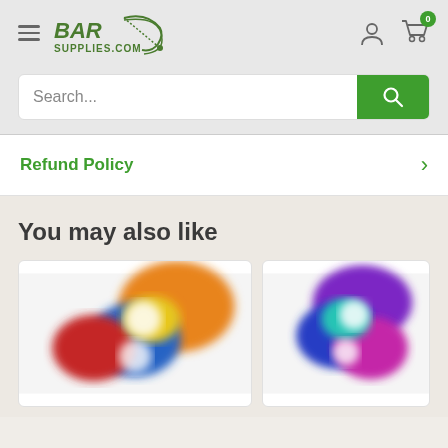[Figure (logo): BarSupplies.com logo with stylized bar and fishing rod arc graphic in green]
Search...
Refund Policy
You may also like
[Figure (photo): Colorful patterned bar/drink product with orange, blue, red colors, blurred]
[Figure (photo): Colorful patterned bar/drink product with purple, blue, multicolored pattern, blurred]